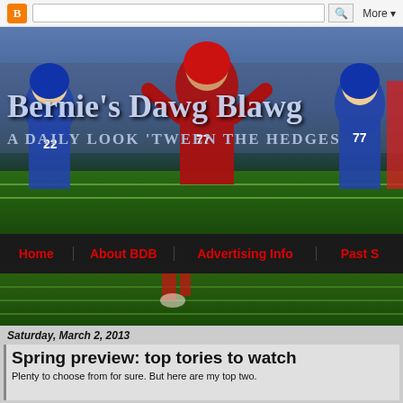Blogger navigation bar with search and More button
[Figure (photo): Bernie's Dawg Blawg header banner with football players in red and blue uniforms on a field, overlaid with blog title and subtitle text]
Bernie's Dawg Blawg
A DAILY LOOK 'TWEEN THE HEDGES
Navigation bar: Home | About BDB | Advertising Info | Past S...
Saturday, March 2, 2013
Spring preview: top tories to watch
Plenty to choose from for sure. But here are my top two.
Top story to watch (as with any spring practice, as well as any August camp dur... position in pretty good shape in terms of depth and returning starters. However, ... finding another lock down tackle to protect the edge opposite John Theus.
Can Mark Beard fill this role? He earned some playing time last season and has ... as the leader.